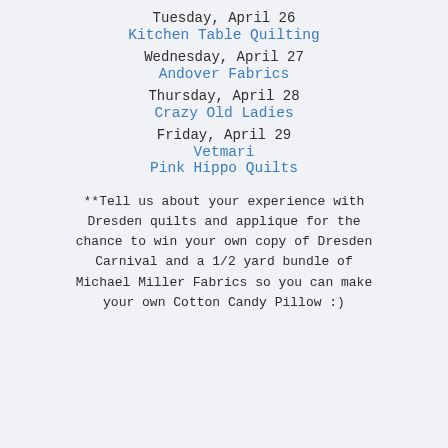Tuesday, April 26
Kitchen Table Quilting
Wednesday, April 27
Andover Fabrics
Thursday, April 28
Crazy Old Ladies
Friday, April 29
Vetmari
Pink Hippo Quilts
**Tell us about your experience with Dresden quilts and applique for the chance to win your own copy of Dresden Carnival and a 1/2 yard bundle of Michael Miller Fabrics so you can make your own Cotton Candy Pillow :)